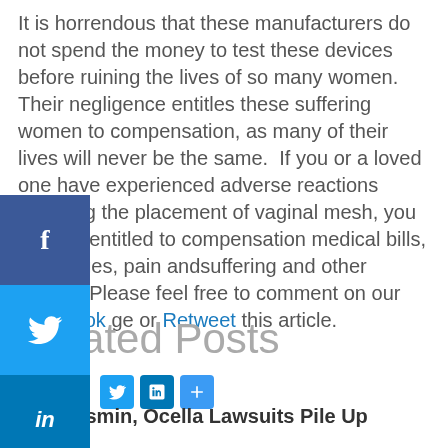It is horrendous that these manufacturers do not spend the money to test these devices before ruining the lives of so many women.  Their negligence entitles these suffering women to compensation, as many of their lives will never be the same.  If you or a loved one have experienced adverse reactions following the placement of vaginal mesh, you may be entitled to compensation medical bills, lost wages, pain andsuffering and other mages. Please feel free to comment on our Facebook ge or Retweet this article.
[Figure (infographic): Social media sharing sidebar with Facebook (f), Twitter (bird), and LinkedIn (in) icons stacked vertically on the left side, plus a row of small sharing buttons (Twitter, LinkedIn, plus) below the text.]
Related Posts
Yaz, Yasmin, Ocella Lawsuits Pile Up